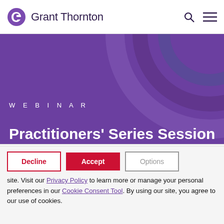Grant Thornton
[Figure (illustration): Purple banner with concentric arc decorations, text 'WEBINAR' and 'Practitioners' Series Session']
Practitioners' Series Session
About Cookies On This Site
We use cookies to personalize and enhance your experience on our site. Visit our Privacy Policy to learn more or manage your personal preferences in our Cookie Consent Tool. By using our site, you agree to our use of cookies.
Decline | Accept | Options